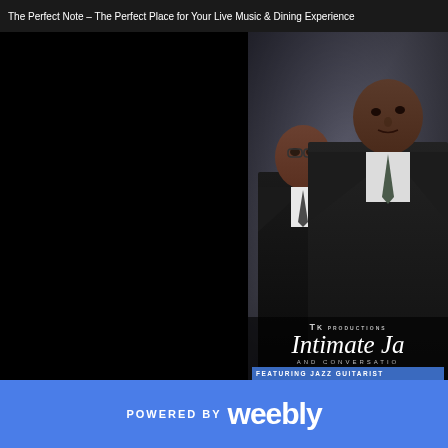The Perfect Note – The Perfect Place for Your Live Music & Dining Experience
[Figure (photo): Two men in dark suits posing for a professional photo against a dark background. One man is bald and stands in front on the right; another man wearing glasses stands slightly behind on the left. Both wear ties.]
TK PRODUCTIONS
Intimate Jazz
AND CONVERSATION
FEATURING JAZZ GUITARIST
POWERED BY weebly